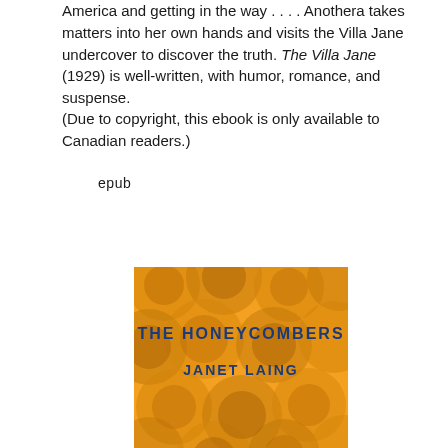America and getting in the way . . . . Anothera takes matters into her own hands and visits the Villa Jane undercover to discover the truth. The Villa Jane (1929) is well-written, with humor, romance, and suspense.
(Due to copyright, this ebook is only available to Canadian readers.)
epub
[Figure (illustration): Book cover for 'The Honeycombers' by Janet Laing. Orange honeycomb pattern background with blue text reading 'THE HONEYCOMBERS' and 'JANET LAING'.]